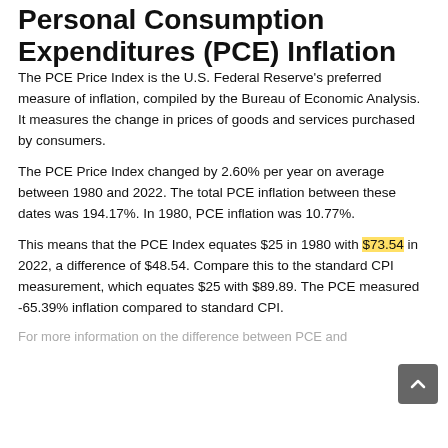Personal Consumption Expenditures (PCE) Inflation
The PCE Price Index is the U.S. Federal Reserve's preferred measure of inflation, compiled by the Bureau of Economic Analysis. It measures the change in prices of goods and services purchased by consumers.
The PCE Price Index changed by 2.60% per year on average between 1980 and 2022. The total PCE inflation between these dates was 194.17%. In 1980, PCE inflation was 10.77%.
This means that the PCE Index equates $25 in 1980 with $73.54 in 2022, a difference of $48.54. Compare this to the standard CPI measurement, which equates $25 with $89.89. The PCE measured -65.39% inflation compared to standard CPI.
For more information on the difference between PCE and